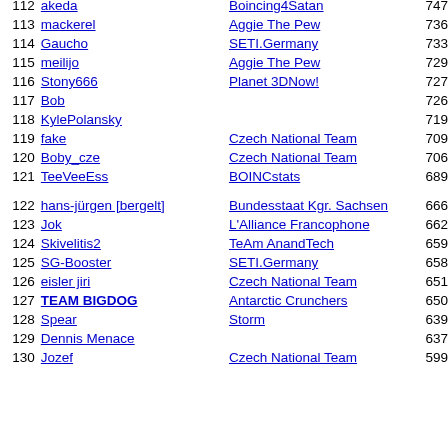| Rank | Name | Team | Score |
| --- | --- | --- | --- |
| 112 | akeda | Boincing4Satan | 747... |
| 113 | mackerel | Aggie The Pew | 736... |
| 114 | Gaucho | SETI.Germany | 733... |
| 115 | meilijo | Aggie The Pew | 729... |
| 116 | Stony666 | Planet 3DNow! | 727... |
| 117 | Bob |  | 726... |
| 118 | KylePolansky |  | 719... |
| 119 | fake | Czech National Team | 709... |
| 120 | Boby_cze | Czech National Team | 706... |
| 121 | TeeVeeEss | BOINCstats | 689... |
| 122 | hans-jürgen [bergelt] | Bundesstaat Kgr. Sachsen | 666... |
| 123 | Jok | L'Alliance Francophone | 662... |
| 124 | Skivelitis2 | TeAm AnandTech | 659... |
| 125 | SG-Booster | SETI.Germany | 658... |
| 126 | eisler jiri | Czech National Team | 651... |
| 127 | TEAM BIGDOG | Antarctic Crunchers | 650... |
| 128 | Spear | Storm | 639... |
| 129 | Dennis Menace |  | 637... |
| 130 | Jozef | Czech National Team | 599... |